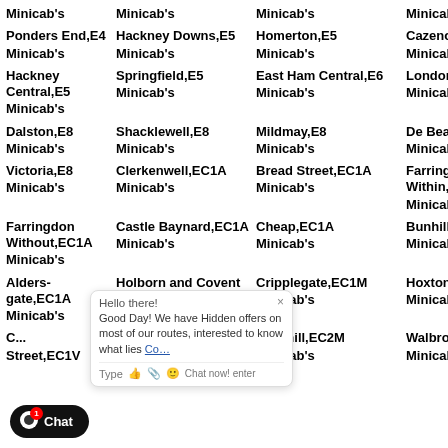| Col1 | Col2 | Col3 | Col4 |
| --- | --- | --- | --- |
| Minicab's | Minicab's | Minicab's | Minicab's |
| Ponders End,E4
Minicab's | Hackney Downs,E5
Minicab's | Homerton,E5
Minicab's | Cazenove,E5
Minicab's |
| Hackney Central,E5
Minicab's | Springfield,E5
Minicab's | East Ham Central,E6
Minicab's | London Fields,E
Minicab's |
| Dalston,E8
Minicab's | Shacklewell,E8
Minicab's | Mildmay,E8
Minicab's | De Beauvoir,E8
Minicab's |
| Victoria,E8
Minicab's | Clerkenwell,EC1A
Minicab's | Bread Street,EC1A
Minicab's | Farringdon Within,EC1A
Minicab's |
| Farringdon Without,EC1A
Minicab's | Castle Baynard,EC1A
Minicab's | Cheap,EC1A
Minicab's | Bunhill,EC1A
Minicab's |
| Aldersgate,EC1A
Minicab's | Holborn and Covent Garden,EC1M
Minicab's | Cripplegate,EC1M
Minicab's | Hoxton West,EC1V
Minicab's |
| Coleman Street,EC1V | Broad Street,EC2M | Cornhill,EC2M
Minicab's | Walbrook,EC2M
Minicab's |